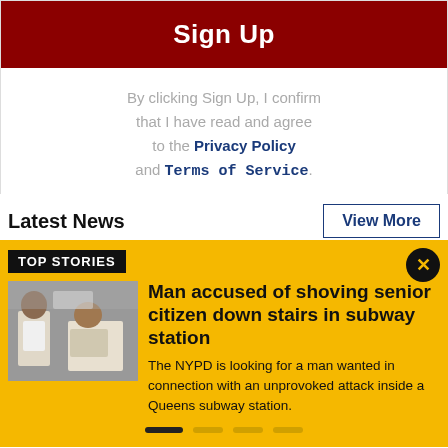Sign Up
By clicking Sign Up, I confirm that I have read and agree to the Privacy Policy and Terms of Service.
Latest News
View More
TOP STORIES
[Figure (photo): Two people in a surveillance or news photo, one appears to be leaning over a surface]
Man accused of shoving senior citizen down stairs in subway station
The NYPD is looking for a man wanted in connection with an unprovoked attack inside a Queens subway station.